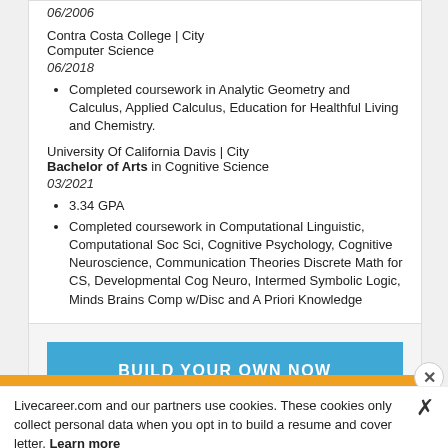06/2006
Contra Costa College | City
Computer Science
06/2018
Completed coursework in Analytic Geometry and Calculus, Applied Calculus, Education for Healthful Living and Chemistry.
University Of California Davis | City
Bachelor of Arts in Cognitive Science
03/2021
3.34 GPA
Completed coursework in Computational Linguistic, Computational Soc Sci, Cognitive Psychology, Cognitive Neuroscience, Communication Theories Discrete Math for CS, Developmental Cog Neuro, Intermed Symbolic Logic, Minds Brains Comp w/Disc and A Priori Knowledge
BUILD YOUR OWN NOW
Livecareer.com and our partners use cookies. These cookies only collect personal data when you opt in to build a resume and cover letter. Learn more